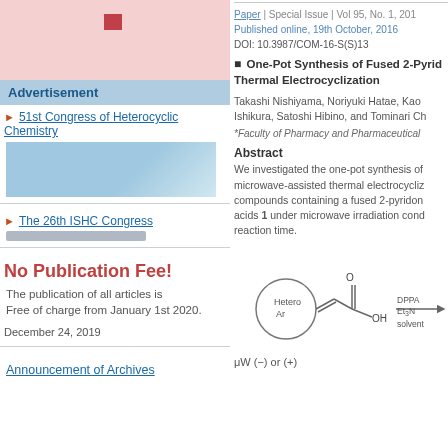[Figure (illustration): Pink/red banner image with dark red square logo element]
Advertisement
► 51st Congress of Heterocyclic Chemistry
[Figure (photo): Blue-toned congress event photo]
► The 26th ISHC Congress
No Publication Fee!
The publication of all articles is Free of charge from January 1st 2020.
December 24, 2019
Announcement of Archives
Paper | Special Issue | Vol 95, No. 1, 201
Published online, 19th October, 2016
DOI: 10.3987/COM-16-S(S)13
■ One-Pot Synthesis of Fused 2-Pyrid Thermal Electrocyclization
Takashi Nishiyama, Noriyuki Hatae, Kaoru Ishikura, Satoshi Hibino, and Tominari Ch
*Faculty of Pharmacy and Pharmaceutical
Abstract
We investigated the one-pot synthesis of microwave-assisted thermal electrocyclization compounds containing a fused 2-pyridinone acids 1 under microwave irradiation conditions reaction time.
[Figure (engineering-diagram): Chemical reaction scheme showing heterocyclic compound with carboxylic acid reacting with DPPA, Et3N in solvent under microwave conditions]
μW (−) or (+)